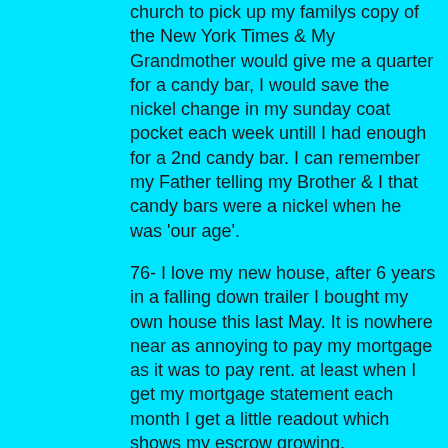church to pick up my familys copy of the New York Times & My Grandmother would give me a quarter for a candy bar, I would save the nickel change in my sunday coat pocket each week untill I had enough for a 2nd candy bar. I can remember my Father telling my Brother & I that candy bars were a nickel when he was 'our age'.
76- I love my new house, after 6 years in a falling down trailer I bought my own house this last May. It is nowhere near as annoying to pay my mortgage as it was to pay rent. at least when I get my mortgage statement each month I get a little readout which shows my escrow growing.
75- There was a time when I prefered reading to almost anything, now it's a close third after internet surfing & spending time with my kids.
74- when I was a teenager I had to make lists of everything, favorite rock band, lead singer, drummer, book, author, movie, actor etc. I made the back part of every